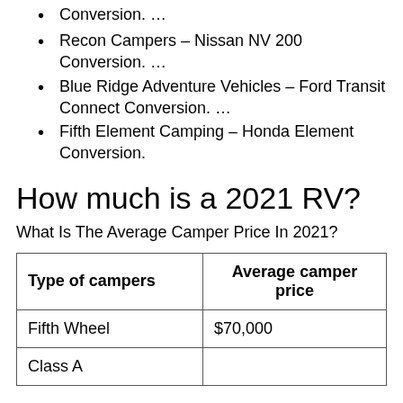Conversion. …
Recon Campers – Nissan NV 200 Conversion. …
Blue Ridge Adventure Vehicles – Ford Transit Connect Conversion. …
Fifth Element Camping – Honda Element Conversion.
How much is a 2021 RV?
What Is The Average Camper Price In 2021?
| Type of campers | Average camper price |
| --- | --- |
| Fifth Wheel | $70,000 |
| Class A |  |